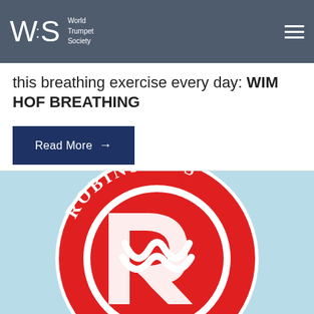World Trumpet Society
this breathing exercise every day: WIM HOF BREATHING
Read More →
[Figure (logo): Robinson's circular red and white logo with stylized letter R]